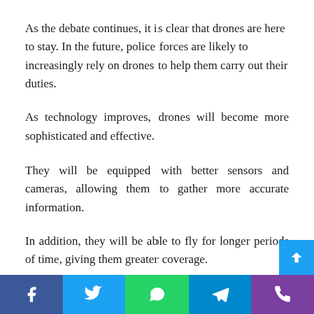As the debate continues, it is clear that drones are here to stay. In the future, police forces are likely to increasingly rely on drones to help them carry out their duties.
As technology improves, drones will become more sophisticated and effective.
They will be equipped with better sensors and cameras, allowing them to gather more accurate information.
In addition, they will be able to fly for longer periods of time, giving them greater coverage.
As police forces become more familiar with using drones, they are likely to find new and innovative ways to utilize